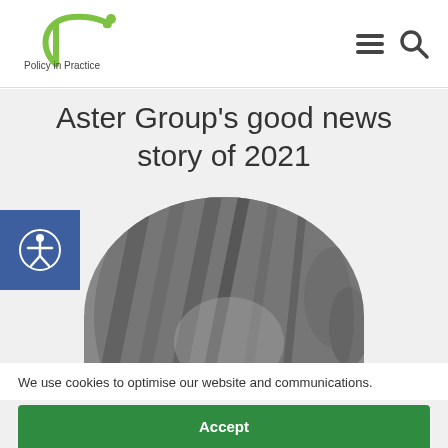[Figure (logo): Policy in Practice logo — green swish/P shape with dot, text 'Policy in Practice' below]
[Figure (illustration): Hamburger menu icon (three horizontal lines) and magnifying glass search icon in dark grey]
Aster Group's good news story of 2021
[Figure (photo): Black and white circular/half-circle cropped photo of a person (woman, hair visible, outdoor setting)]
[Figure (illustration): Blue square accessibility icon with person/circle symbol (web accessibility button)]
We use cookies to optimise our website and communications.
Accept